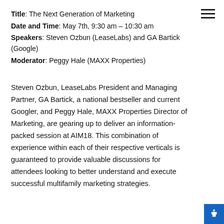Title: The Next Generation of Marketing
Date and Time: May 7th, 9:30 am – 10:30 am
Speakers: Steven Ozbun (LeaseLabs) and GA Bartick (Google)
Moderator: Peggy Hale (MAXX Properties)
Steven Ozbun, LeaseLabs President and Managing Partner, GA Bartick, a national bestseller and current Googler, and Peggy Hale, MAXX Properties Director of Marketing, are gearing up to deliver an information-packed session at AIM18. This combination of experience within each of their respective verticals is guaranteed to provide valuable discussions for attendees looking to better understand and execute successful multifamily marketing strategies.